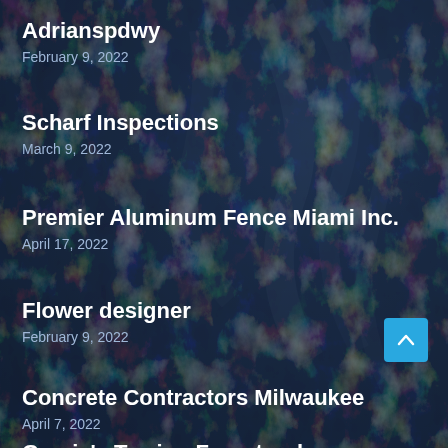Adrianspdwy
February 9, 2022
Scharf Inspections
March 9, 2022
Premier Aluminum Fence Miami Inc.
April 17, 2022
Flower designer
February 9, 2022
Concrete Contractors Milwaukee
April 7, 2022
Garcia's Towing Forestpark